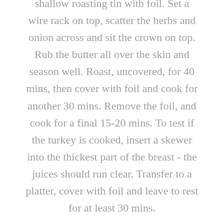shallow roasting tin with foil. Set a wire rack on top, scatter the herbs and onion across and sit the crown on top. Rub the butter all over the skin and season well. Roast, uncovered, for 40 mins, then cover with foil and cook for another 30 mins. Remove the foil, and cook for a final 15-20 mins. To test if the turkey is cooked, insert a skewer into the thickest part of the breast - the juices should run clear. Transfer to a platter, cover with foil and leave to rest for at least 30 mins.